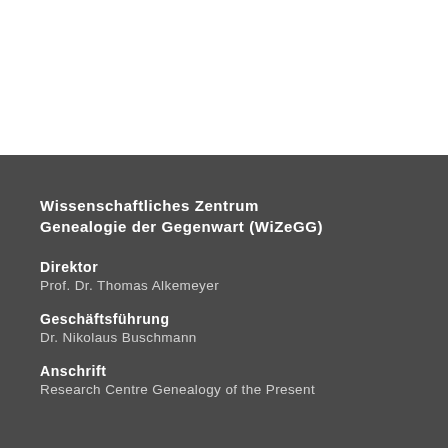Wissenschaftliches Zentrum Genealogie der Gegenwart (WiZeGG)
Direktor
Prof. Dr. Thomas Alkemeyer
Geschäftsführung
Dr. Nikolaus Buschmann
Anschrift
Research Centre Genealogy of the Present